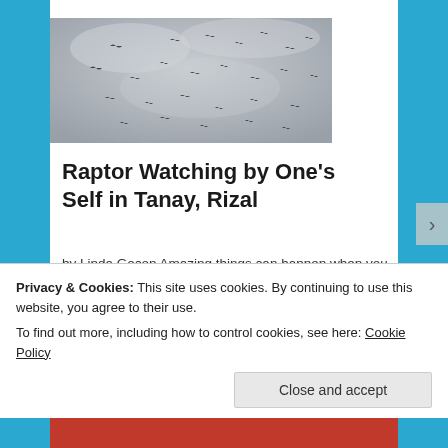[Figure (photo): Photo of birds (raptors) flying in a grey overcast sky, scattered across the frame]
Raptor Watching by One's Self in Tanay, Rizal
by Linda Gocon Amazing things can happen when you put your mind to it! You can overcome all sorts
Privacy & Cookies: This site uses cookies. By continuing to use this website, you agree to their use.
To find out more, including how to control cookies, see here: Cookie Policy
Close and accept